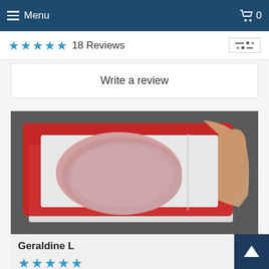Menu   0
18 Reviews
Write a review
[Figure (photo): A red food storage container with a clear lid being opened, showing sliced deli ham inside, placed on a dark countertop.]
Geraldine L
5 stars rating
These work fine and as expected. they are great for my sons living in college dorms and I use them at